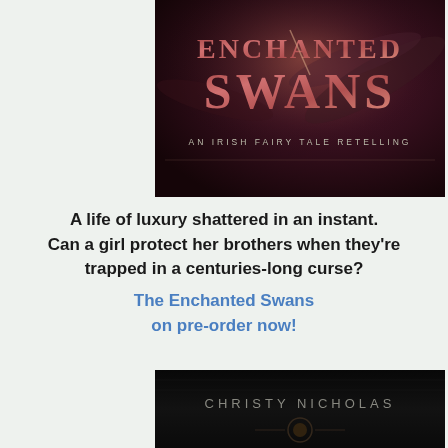[Figure (illustration): Book cover of 'Enchanted Swans: An Irish Fairy Tale Retelling' — dark background with rose-gold metallic lettering and feather imagery]
A life of luxury shattered in an instant. Can a girl protect her brothers when they're trapped in a centuries-long curse? The Enchanted Swans on pre-order now!
[Figure (illustration): Bottom portion of a book cover showing 'CHRISTY NICHOLAS' author name in silver lettering on dark/black background with decorative ornamental elements]